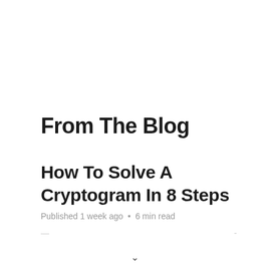From The Blog
How To Solve A Cryptogram In 8 Steps
Published 1 week ago  •  6 min read
— · · · · · · · · · · · · · · · ·